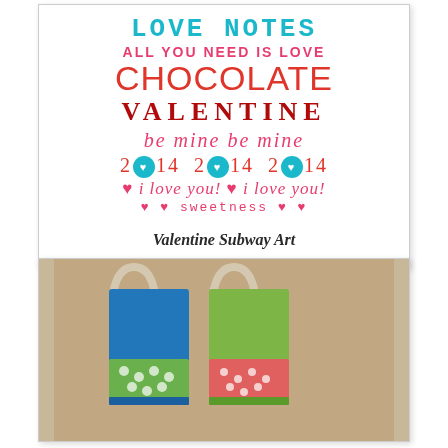[Figure (illustration): Valentine subway art with colorful text phrases: LOVE NOTES, ALL YOU NEED IS LOVE, CHOCOLATE, VALENTINE, BE MINE BE MINE, 2014 repeated three times with teal circle hearts, i love you! i love you!, sweetness in decorative script]
Valentine Subway Art
[Figure (photo): Two small tote bags with handles on a tan/burlap background. Left bag is blue with green polka dot base panel. Right bag is green with floral fabric base panel.]